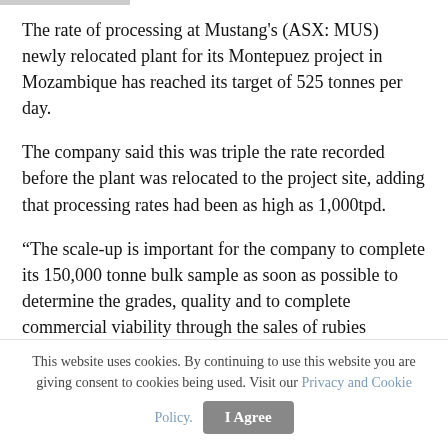The rate of processing at Mustang's (ASX: MUS) newly relocated plant for its Montepuez project in Mozambique has reached its target of 525 tonnes per day.
The company said this was triple the rate recorded before the plant was relocated to the project site, adding that processing rates had been as high as 1,000tpd.
“The scale-up is important for the company to complete its 150,000 tonne bulk sample as soon as possible to determine the grades, quality and to complete commercial viability through the sales of rubies recovered,” Mustang said in an announcement.
It said the new processing rate would increase recoveries
This website uses cookies. By continuing to use this website you are giving consent to cookies being used. Visit our Privacy and Cookie Policy.
I Agree